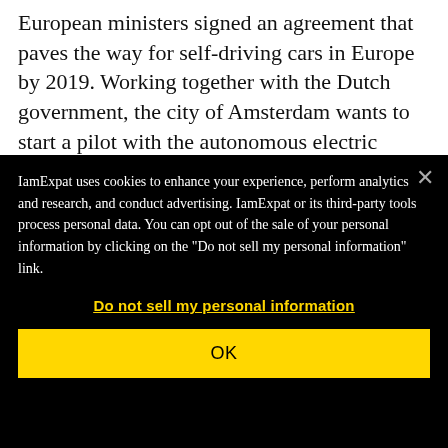European ministers signed an agreement that paves the way for self-driving cars in Europe by 2019. Working together with the Dutch government, the city of Amsterdam wants to start a pilot with the autonomous electric vehicles.
Pio...official for Amsterdam...
IamExpat uses cookies to enhance your experience, perform analytics and research, and conduct advertising. IamExpat or its third-party tools process personal data. You can opt out of the sale of your personal information by clicking on the "Do not sell my personal information" link.
Do not sell my personal information
OK